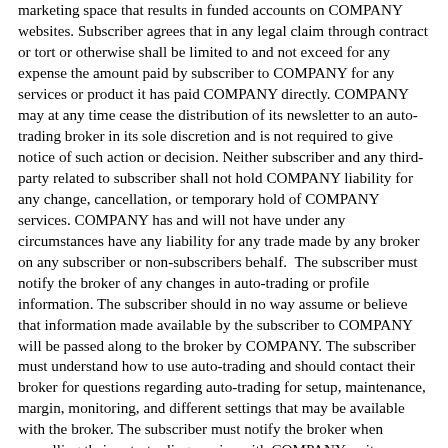marketing space that results in funded accounts on COMPANY websites. Subscriber agrees that in any legal claim through contract or tort or otherwise shall be limited to and not exceed for any expense the amount paid by subscriber to COMPANY for any services or product it has paid COMPANY directly. COMPANY may at any time cease the distribution of its newsletter to an auto-trading broker in its sole discretion and is not required to give notice of such action or decision. Neither subscriber and any third-party related to subscriber shall not hold COMPANY liability for any change, cancellation, or temporary hold of COMPANY services. COMPANY has and will not have under any circumstances have any liability for any trade made by any broker on any subscriber or non-subscribers behalf.  The subscriber must notify the broker of any changes in auto-trading or profile information. The subscriber should in no way assume or believe that information made available by the subscriber to COMPANY will be passed along to the broker by COMPANY. The subscriber must understand how to use auto-trading and should contact their broker for questions regarding auto-trading for setup, maintenance, margin, monitoring, and different settings that may be available with the broker. The subscriber must notify the broker when cancelling their auto-trading service with COMPANY or its website division regardless of whether or not the subscriber has notified Insight Investors with any form of communication of subscribers action or intent to cancel. Subscribers and non-